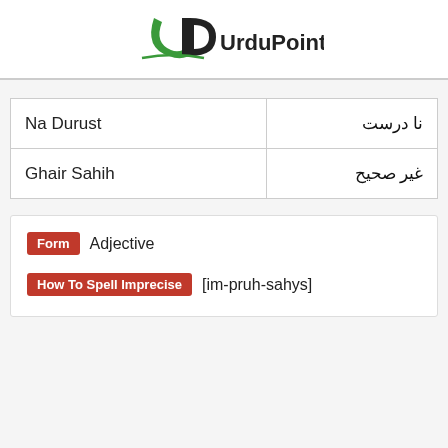[Figure (logo): UrduPoint logo with green swoosh and bold text]
| Na Durust | نا درست |
| Ghair Sahih | غیر صحیح |
Form Adjective
How To Spell Imprecise [im-pruh-sahys]